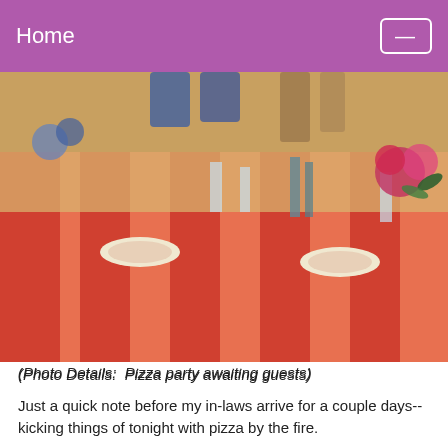Home
[Figure (photo): Outdoor dining table set up for a pizza party, with striped red and orange tablecloth, plates, glasses, and floral arrangements awaiting guests]
(Photo Details:  Pizza party awaiting guests)
Just a quick note before my in-laws arrive for a couple days--kicking things of tonight with pizza by the fire.
I wanted to post a link to the Forbes article I was interviewed for, How Two Couples Fund Their Fun in Early Retirement.
I enjoyed reading about the other couple, David and Sally.  Especially to get introduced to his great blog.  He pubishes many of the financial details I don't publish here.  So for those of you for whom that is valuable, check him out:  I Retired Young, What I do and What it Costs.  I will certainly add him to my blogroll when I get a free moment after entertaining guests.